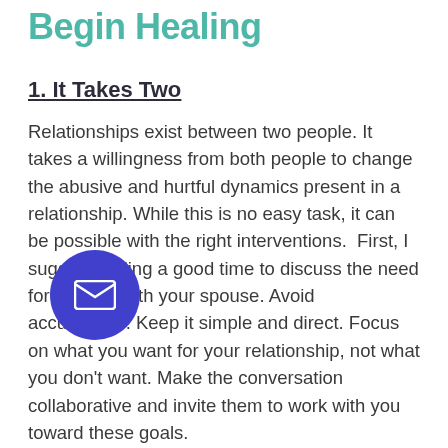Begin Healing
1. It Takes Two
Relationships exist between two people. It takes a willingness from both people to change the abusive and hurtful dynamics present in a relationship. While this is no easy task, it can be possible with the right interventions.  First, I suggest finding a good time to discuss the need for change with your spouse. Avoid accusations. Keep it simple and direct. Focus on what you want for your relationship, not what you don't want. Make the conversation collaborative and invite them to work with you toward these goals.
2.  Pause